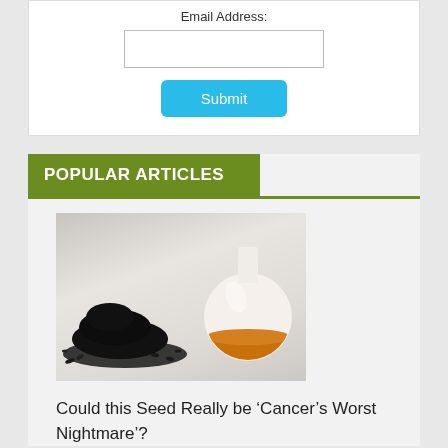Email Address:
[Figure (other): Email address input text field]
[Figure (other): Submit button (cyan/light blue)]
POPULAR ARTICLES
[Figure (photo): Photo of black seeds in a pile next to a round glass flask/bottle containing amber/orange oil]
Could this Seed Really be ‘Cancer’s Worst Nightmare’?